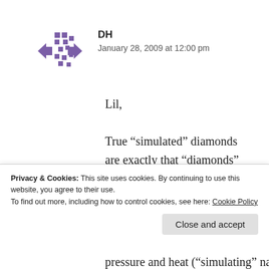[Figure (logo): Purple pixel/arrow avatar icon for user DH]
DH
January 28, 2009 at 12:00 pm
Lil,
True “simulated” diamonds are exactly that “diamonds” they are carbon atoms. A natural diamond is a bunch of carbon atoms compressed together to make the stone. This happens naturally over time. The other form of carbon is graphite. Also know as grease. It is only the way
Privacy & Cookies: This site uses cookies. By continuing to use this website, you agree to their use.
To find out more, including how to control cookies, see here: Cookie Policy
Close and accept
pressure and heat (“simulating” natures